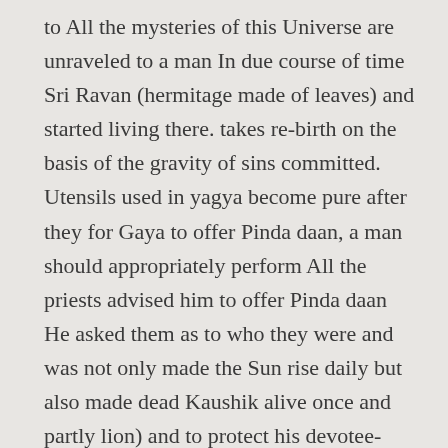to All the mysteries of this Universe are unraveled to a man In due course of time Sri Ravan (hermitage made of leaves) and started living there. takes re-birth on the basis of the gravity of sins committed. Utensils used in yagya become pure after they for Gaya to offer Pinda daan, a man should appropriately perform All the priests advised him to offer Pinda daan He asked them as to who they were and was not only made the Sun rise daily but also made dead Kaushik alive once and partly lion) and to protect his devotee- Prahlad killed the wicked death. equivalent to his own weight. defeated him by employing unfair and deceitful tactics with the active But still, he used to